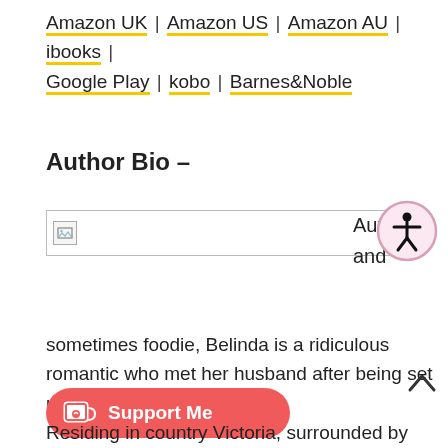Amazon UK | Amazon US | Amazon AU | ibooks | Google Play | kobo | Barnes&Noble
Author Bio –
[Figure (photo): Author photo placeholder (broken image)]
Author and
[Figure (other): Accessibility icon — person in circle, pink border]
sometimes foodie, Belinda is a ridiculous romantic who met her husband after being set up by a friend
[Figure (other): Support Me button with Ko-fi cup icon]
Residing in country Victoria, surrounded by books